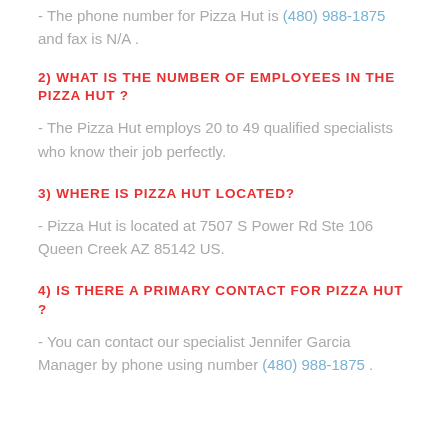- The phone number for Pizza Hut is (480) 988-1875 and fax is N/A .
2) WHAT IS THE NUMBER OF EMPLOYEES IN THE PIZZA HUT ?
- The Pizza Hut employs 20 to 49 qualified specialists who know their job perfectly.
3) WHERE IS PIZZA HUT LOCATED?
- Pizza Hut is located at 7507 S Power Rd Ste 106 Queen Creek AZ 85142 US.
4) IS THERE A PRIMARY CONTACT FOR PIZZA HUT ?
- You can contact our specialist Jennifer Garcia Manager by phone using number (480) 988-1875 .